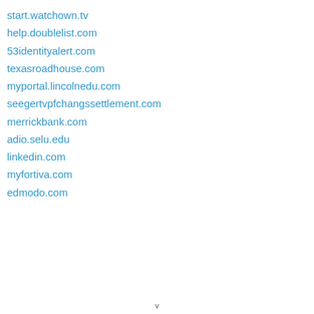start.watchown.tv
help.doublelist.com
53identityalert.com
texasroadhouse.com
myportal.lincolnedu.com
seegertvpfchangssettlement.com
merrickbank.com
adio.selu.edu
linkedin.com
myfortiva.com
edmodo.com
v